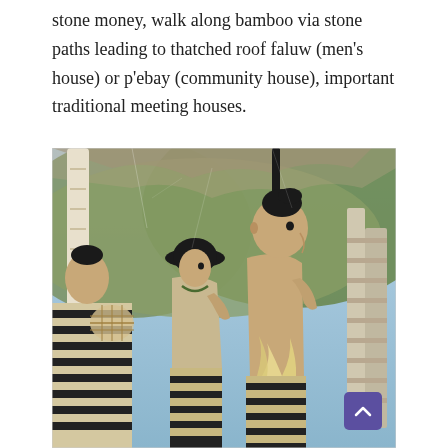stone money, walk along bamboo via stone paths leading to thatched roof faluw (men's house) or p'ebay (community house), important traditional meeting houses.
[Figure (photo): A mural or painted artwork depicting traditional Pacific Islander figures. Three people are shown in traditional dress with black and white striped garments. The central and right figures are more prominent — the right figure is shirtless, has an upswept hairstyle, and holds a tall dark spear or staff. The middle figure wears a round hat and a wrap garment. A third figure is partially visible at the left edge. The background shows green forested hills. The painting appears aged and cracked, suggesting it may be a fresco or mural on a stone or concrete wall.]